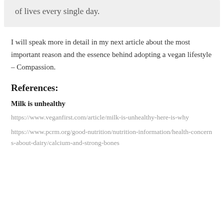of lives every single day.
I will speak more in detail in my next article about the most important reason and the essence behind adopting a vegan lifestyle – Compassion.
References:
Milk is unhealthy
https://www.veganfirst.com/article/milk-is-unhealthy-here-is-why
https://www.pcrm.org/good-nutrition/nutrition-information/health-concerns-about-dairy/calcium-and-strong-bones